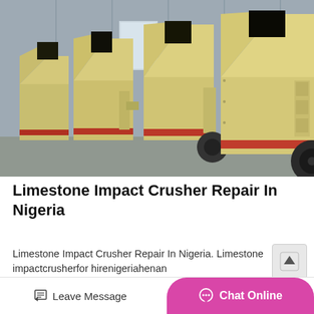[Figure (photo): Row of yellow limestone impact crusher machines lined up in an industrial yard in front of a grey metal building. The machines are large, boxy, heavy-duty with funnel-like openings at the top and red accents near the base.]
Limestone Impact Crusher Repair In Nigeria
Limestone Impact Crusher Repair In Nigeria. Limestone impactcrusherfor hirenigeriahenan smallcoaljawcrushersuppliersnigeriasmall stonecrusher...